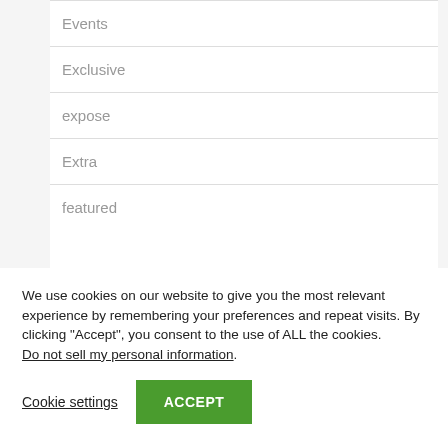Events
Exclusive
expose
Extra
featured
We use cookies on our website to give you the most relevant experience by remembering your preferences and repeat visits. By clicking “Accept”, you consent to the use of ALL the cookies.
Do not sell my personal information.
Cookie settings
ACCEPT